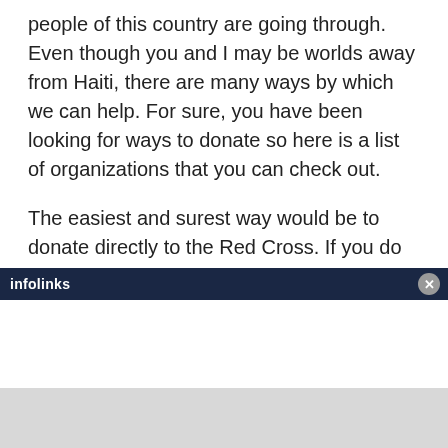people of this country are going through. Even though you and I may be worlds away from Haiti, there are many ways by which we can help. For sure, you have been looking for ways to donate so here is a list of organizations that you can check out.
The easiest and surest way would be to donate directly to the Red Cross. If you do not know where the nearest Red Cross office is, you simply have to take out your mobile phone (in the US, at least) and send "Haiti" to 90999. In doing so, you will donate $10, which will be billed to your mobile phone plan. Alternatively, you can call 1-800-REDCROSS for more information and options.
infolinks